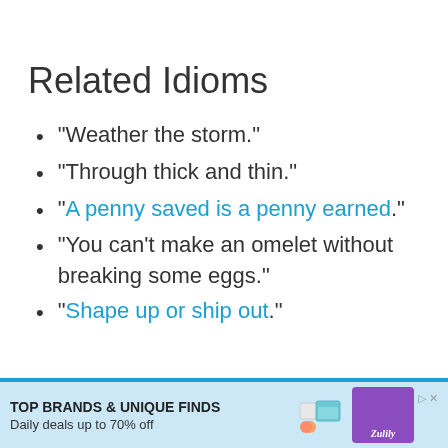Related Idioms
“Weather the storm.”
“Through thick and thin.”
“A penny saved is a penny earned.”
“You can’t make an omelet without breaking some eggs.”
“Shape up or ship out.”
[Figure (other): Advertisement banner: TOP BRANDS & UNIQUE FINDS, Daily deals up to 70% off, Zulily brand logo with product images]